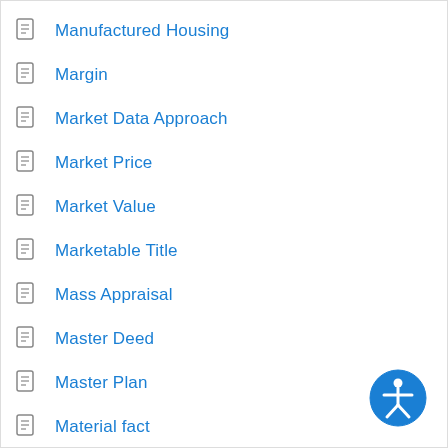Manufactured Housing
Margin
Market Data Approach
Market Price
Market Value
Marketable Title
Mass Appraisal
Master Deed
Master Plan
Material fact
Maturity Date
Mechanics Lien
[Figure (illustration): Accessibility icon button — blue circle with white stick figure person symbol]